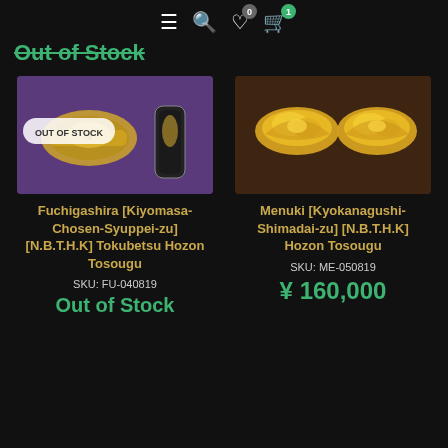≡ 🔍 ♡ 0 🛒 1
Out of Stock
[Figure (photo): Two Japanese sword fittings (fuchigashira) on purple background, showing gold and silver metalwork. OUT OF STOCK badge overlay.]
Fuchigashira [Kiyomasa-Chosen-Syuppei-zu] [N.B.T.H.K] Tokubetsu Hozon Tosougu
SKU: FU-040819
Out of Stock
[Figure (photo): Two Japanese sword fittings (menuki) on dark brown wooden background, showing ornate gold dragon or mythical creature designs.]
Menuki [Kyokanagushi-Shimadai-zu] [N.B.T.H.K] Hozon Tosougu
SKU: ME-050819
¥ 160,000